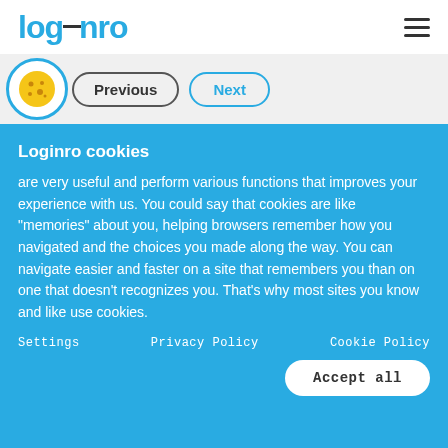loginro
[Figure (screenshot): Navigation bar with cookie icon, Previous button, and Next button]
Loginro cookies
are very useful and perform various functions that improves your experience with us. You could say that cookies are like "memories" about you, helping browsers remember how you navigated and the choices you made along the way. You can navigate easier and faster on a site that remembers you than on one that doesn't recognizes you. That's why most sites you know and like use cookies.
Settings   Privacy Policy   Cookie Policy